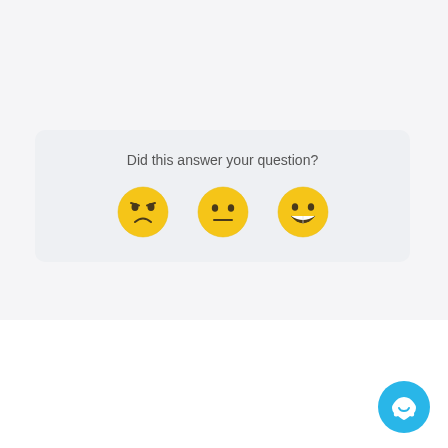Did this answer your question?
[Figure (illustration): Three emoji faces: disappointed (frowning), neutral, and grinning — used as feedback rating buttons]
[Figure (logo): GovernorHub from The Key logo and The Key for School Governors logo side by side with a vertical divider]
We run on Intercom